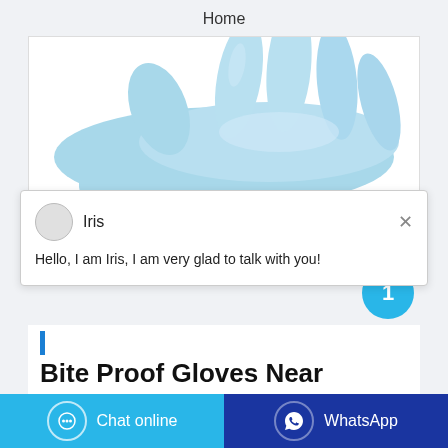Home
[Figure (photo): A light blue medical/examination latex glove displayed against a white background, showing the hand and fingers spread.]
Iris
Hello, I am Iris, I am very glad to talk with you!
Bite Proof Gloves Near
Chat online
WhatsApp